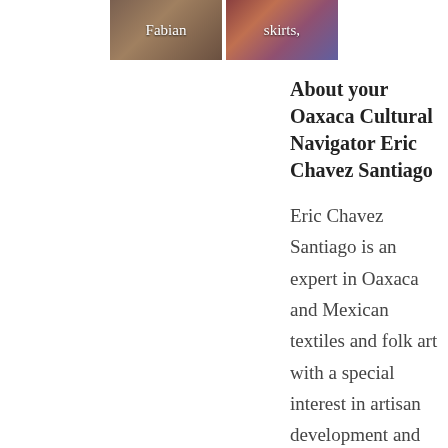[Figure (photo): Two small thumbnail photos side by side. Left shows a person labeled 'Fabian', right shows colorful skirts labeled 'skirts,']
About your Oaxaca Cultural Navigator Eric Chavez Santiago
Eric Chavez Santiago is an expert in Oaxaca and Mexican textiles and folk art with a special interest in artisan development and promotion. He is a weaver and natural dyer by training and a fourth generation member of the Fe y Lola textile group. He and his wife Elsa are founders of Taller Teñido a Mano dye studio where they produce naturally dyed yarn skeins and textiles for worldwide distribution. Eric is a business partner with Oaxaca Cultural Navigator, too. He